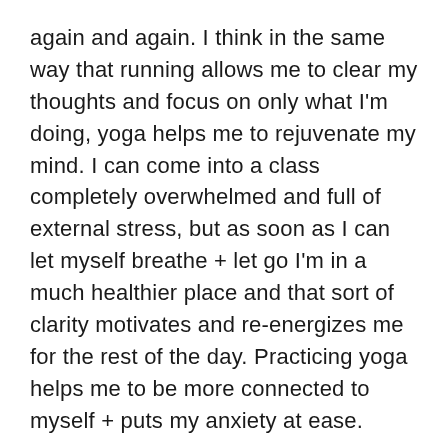again and again. I think in the same way that running allows me to clear my thoughts and focus on only what I'm doing, yoga helps me to rejuvenate my mind. I can come into a class completely overwhelmed and full of external stress, but as soon as I can let myself breathe + let go I'm in a much healthier place and that sort of clarity motivates and re-energizes me for the rest of the day. Practicing yoga helps me to be more connected to myself + puts my anxiety at ease.
(Life+) How does yoga change you off the mat?
I think I mentioned this a little above but yoga helps me to be a calmer, more